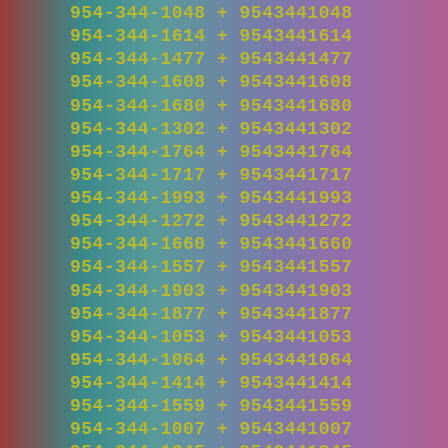954-344-1048 + 9543441048
954-344-1614 + 9543441614
954-344-1477 + 9543441477
954-344-1608 + 9543441608
954-344-1680 + 9543441680
954-344-1302 + 9543441302
954-344-1764 + 9543441764
954-344-1717 + 9543441717
954-344-1993 + 9543441993
954-344-1272 + 9543441272
954-344-1660 + 9543441660
954-344-1557 + 9543441557
954-344-1903 + 9543441903
954-344-1877 + 9543441877
954-344-1053 + 9543441053
954-344-1064 + 9543441064
954-344-1414 + 9543441414
954-344-1559 + 9543441559
954-344-1007 + 9543441007
954-344-1345 + 9543441345
954-344-1679 + 9543441679
954-344-1731 + 9543441731
954-344-1736 + 9543441736